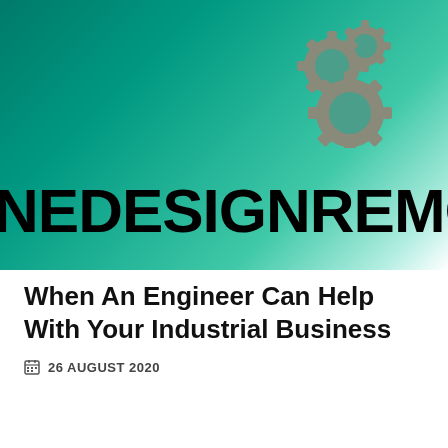[Figure (logo): NEDESIGNREMOD logo with three interlocking gears on a teal-to-white gradient background banner]
When An Engineer Can Help With Your Industrial Business
26 AUGUST 2020